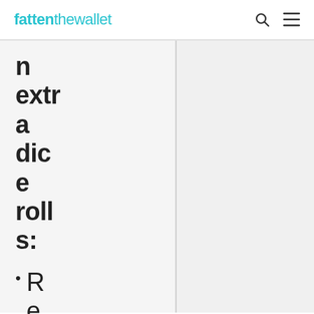fattenthewallet
n extra dice rolls:
Refer f...